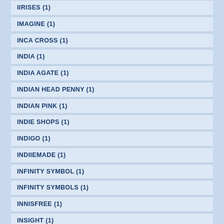IIRISES (1)
IMAGINE (1)
INCA CROSS (1)
INDIA (1)
INDIA AGATE (1)
INDIAN HEAD PENNY (1)
INDIAN PINK (1)
INDIE SHOPS (1)
INDIGO (1)
INDIIEMADE (1)
INFINITY SYMBOL (1)
INFINITY SYMBOLS (1)
INNISFREE (1)
INSIGHT (1)
INSPIRATION (1)
INSPIRATIONAL (1)
INTENSE BLUE (1)
INVITATIONS (1)